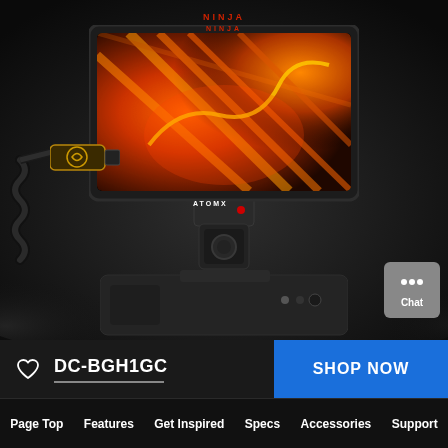[Figure (photo): Atomos Ninja monitor/recorder with orange abstract display content mounted on an AtomX cold shoe mount on a camera, with an Atomos cable/connector attached to the left side. Dark moody background.]
DC-BGH1GC
SHOP NOW
Page Top  Features  Get Inspired  Specs  Accessories  Support